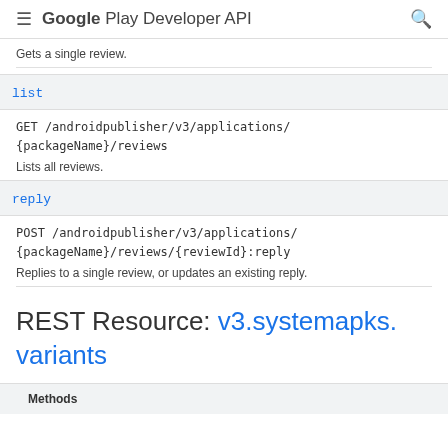≡ Google Play Developer API 🔍
Gets a single review.
list
GET /androidpublisher/v3/applications/{packageName}/reviews
Lists all reviews.
reply
POST /androidpublisher/v3/applications/{packageName}/reviews/{reviewId}:reply
Replies to a single review, or updates an existing reply.
REST Resource: v3.systemapks.variants
Methods